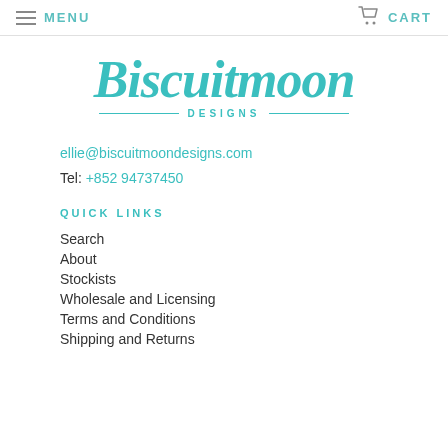MENU   CART
[Figure (logo): Biscuitmoon Designs logo in teal cursive script with 'DESIGNS' in spaced caps below, flanked by horizontal lines]
ellie@biscuitmoondesigns.com
Tel: +852 94737450
QUICK LINKS
Search
About
Stockists
Wholesale and Licensing
Terms and Conditions
Shipping and Returns